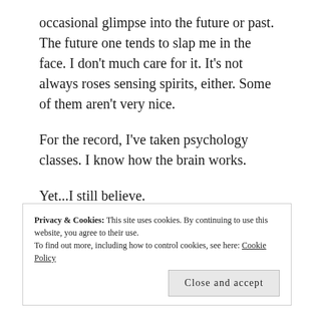occasional glimpse into the future or past. The future one tends to slap me in the face. I don't much care for it. It's not always roses sensing spirits, either. Some of them aren't very nice.
For the record, I've taken psychology classes. I know how the brain works.
Yet...I still believe.
Which is, essentially, how the brain works.
Privacy & Cookies: This site uses cookies. By continuing to use this website, you agree to their use.
To find out more, including how to control cookies, see here: Cookie Policy
Close and accept